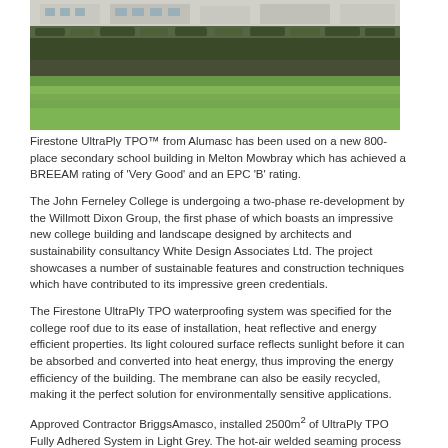[Figure (photo): Exterior photo of a modern school building with green hedge and lawn in the foreground]
Firestone UltraPly TPO™ from Alumasc has been used on a new 800-place secondary school building in Melton Mowbray which has achieved a BREEAM rating of 'Very Good' and an EPC 'B' rating.
The John Ferneley College is undergoing a two-phase re-development by the Willmott Dixon Group, the first phase of which boasts an impressive new college building and landscape designed by architects and sustainability consultancy White Design Associates Ltd. The project showcases a number of sustainable features and construction techniques which have contributed to its impressive green credentials.
The Firestone UltraPly TPO waterproofing system was specified for the college roof due to its ease of installation, heat reflective and energy efficient properties. Its light coloured surface reflects sunlight before it can be absorbed and converted into heat energy, thus improving the energy efficiency of the building. The membrane can also be easily recycled, making it the perfect solution for environmentally sensitive applications.
Approved Contractor BriggsAmasco, installed 2500m² of UltraPly TPO Fully Adhered System in Light Grey. The hot-air welded seaming process results in fast, economical installation, which can be carried out all year-round in a variety of weather conditions. The application of UltraPly TPO